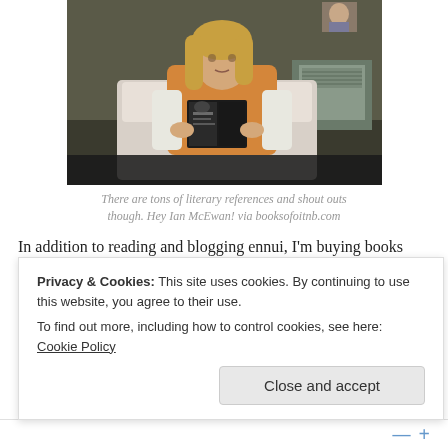[Figure (photo): A person with long blonde hair sitting and reading a book with a dark cover, in what appears to be a prison or institutional setting. They are wearing an orange top over a white long-sleeve shirt.]
There are tons of literary references and shout outs though. Hey Ian McEwan! via booksofoitnb.com
In addition to reading and blogging ennui, I'm buying books and not reading them, which I understand is normal book blogger behaviour, but it's not normal for me. And I'm just not loving the books I'm reading lately. I don't think it's them. I think it's me.
Privacy & Cookies: This site uses cookies. By continuing to use this website, you agree to their use.
To find out more, including how to control cookies, see here: Cookie Policy